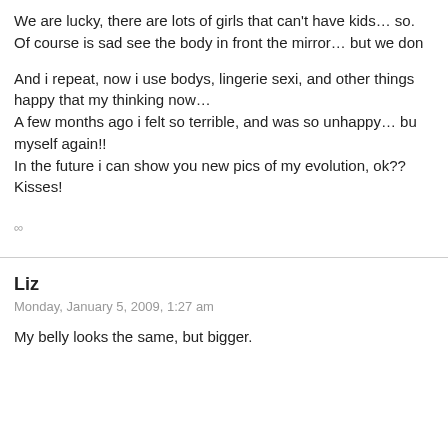We are lucky, there are lots of girls that can't have kids… so.
Of course is sad see the body in front the mirror… but we don
And i repeat, now i use bodys, lingerie sexi, and other things happy that my thinking now…
A few months ago i felt so terrible, and was so unhappy… but myself again!!
In the future i can show you new pics of my evolution, ok??
Kisses!
∞
Liz
Monday, January 5, 2009, 1:27 am
My belly looks the same, but bigger.